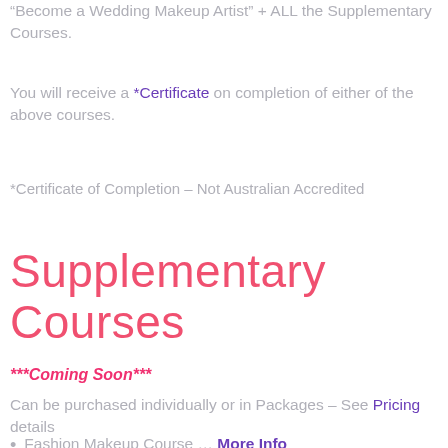“Become a Wedding Makeup Artist” + ALL the Supplementary Courses.
You will receive a *Certificate on completion of either of the above courses.
*Certificate of Completion – Not Australian Accredited
Supplementary Courses
***Coming Soon***
Can be purchased individually or in Packages – See Pricing details
Fashion Makeup Course … More Info